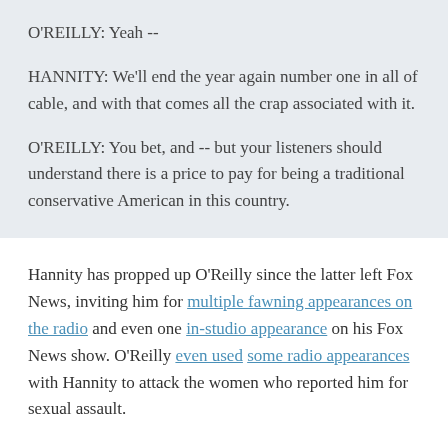O'REILLY: Yeah --
HANNITY: We'll end the year again number one in all of cable, and with that comes all the crap associated with it.
O'REILLY: You bet, and -- but your listeners should understand there is a price to pay for being a traditional conservative American in this country.
Hannity has propped up O'Reilly since the latter left Fox News, inviting him for multiple fawning appearances on the radio and even one in-studio appearance on his Fox News show. O'Reilly even used some radio appearances with Hannity to attack the women who reported him for sexual assault.